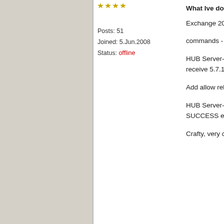Posts: 51
Joined: 5.Jun.2008
Status: offline
What Ive done now:

Exchange 2000 server commands - WORKS

HUB Server- telnet to receive 5.7.1 NDR me...

Add allow relay to Mim...

HUB Server- telnet to SUCCESS email goes...

Crafty, very crafty NDR...
Email  PM  Addr.  Block
RE: 501 5.7.1 This system is not configured to rela...
ismail.mohammed